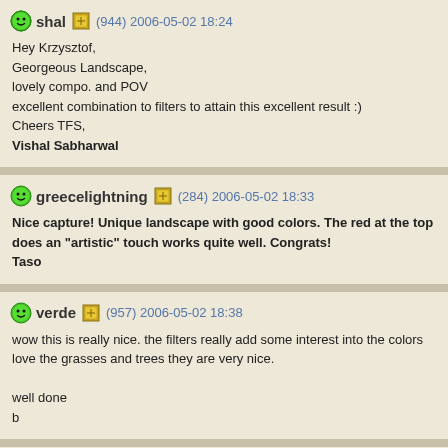shal (944) 2006-05-02 18:24
Hey Krzysztof,
Georgeous Landscape,
lovely compo. and POV
excellent combination to filters to attain this excellent result :)
Cheers TFS,
Vishal Sabharwal
greecelightning (284) 2006-05-02 18:33
Nice capture! Unique landscape with good colors. The red at the top does an "artistic" touch works quite well. Congrats!
Taso
verde (957) 2006-05-02 18:38
wow this is really nice. the filters really add some interest into the colors love the grasses and trees they are very nice.

well done
b